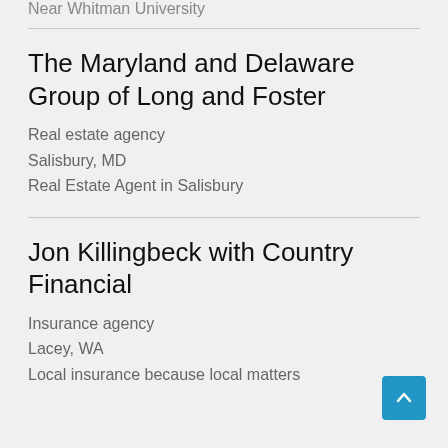Near Whitman University
The Maryland and Delaware Group of Long and Foster
Real estate agency
Salisbury, MD
Real Estate Agent in Salisbury
Jon Killingbeck with Country Financial
Insurance agency
Lacey, WA
Local insurance because local matters